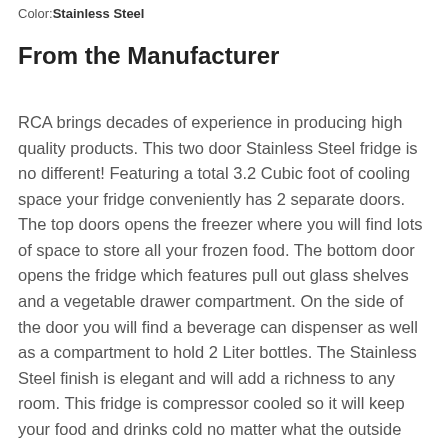Color:Stainless Steel
From the Manufacturer
RCA brings decades of experience in producing high quality products. This two door Stainless Steel fridge is no different! Featuring a total 3.2 Cubic foot of cooling space your fridge conveniently has 2 separate doors. The top doors opens the freezer where you will find lots of space to store all your frozen food. The bottom door opens the fridge which features pull out glass shelves and a vegetable drawer compartment. On the side of the door you will find a beverage can dispenser as well as a compartment to hold 2 Liter bottles. The Stainless Steel finish is elegant and will add a richness to any room. This fridge is compressor cooled so it will keep your food and drinks cold no matter what the outside temperature is. There is a temperature dial built in so you can keep your